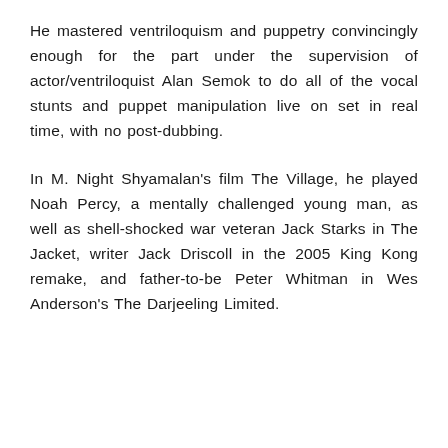He mastered ventriloquism and puppetry convincingly enough for the part under the supervision of actor/ventriloquist Alan Semok to do all of the vocal stunts and puppet manipulation live on set in real time, with no post-dubbing.
In M. Night Shyamalan's film The Village, he played Noah Percy, a mentally challenged young man, as well as shell-shocked war veteran Jack Starks in The Jacket, writer Jack Driscoll in the 2005 King Kong remake, and father-to-be Peter Whitman in Wes Anderson's The Darjeeling Limited.